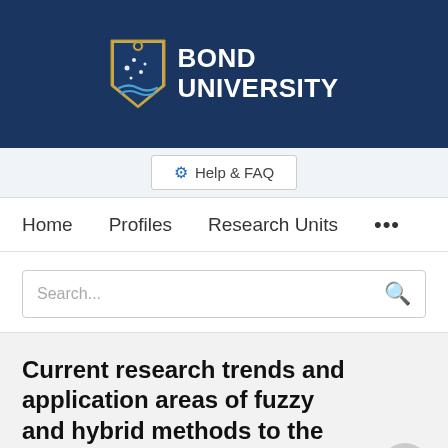[Figure (logo): Bond University logo with shield crest and white text on dark navy background]
Help & FAQ
Home   Profiles   Research Units   ...
Search...
Current research trends and application areas of fuzzy and hybrid methods to the risk assessment of construction projects